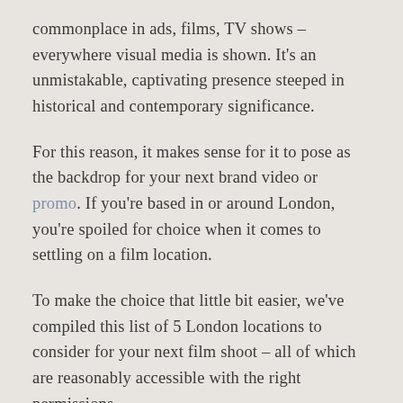commonplace in ads, films, TV shows – everywhere visual media is shown. It's an unmistakable, captivating presence steeped in historical and contemporary significance.
For this reason, it makes sense for it to pose as the backdrop for your next brand video or promo. If you're based in or around London, you're spoiled for choice when it comes to settling on a film location.
To make the choice that little bit easier, we've compiled this list of 5 London locations to consider for your next film shoot – all of which are reasonably accessible with the right permissions.